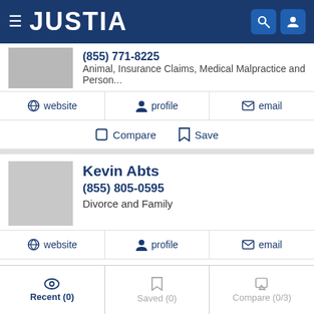JUSTIA
Animal, Insurance Claims, Medical Malpractice and Person...
website | profile | email
Compare | Save
Kevin Abts
(855) 805-0595
Divorce and Family
website | profile | email
Compare | Save
Recent (0) | Saved (0) | Compare (0/3)